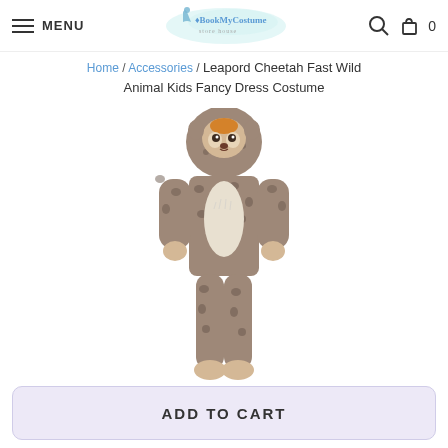MENU | BookMyCostume | Search | Cart 0
Home / Accessories / Leapord Cheetah Fast Wild Animal Kids Fancy Dress Costume
[Figure (photo): Child mannequin wearing a leopard/cheetah animal onesie costume with hood featuring animal face, spotted brown pattern with white belly area]
ADD TO CART